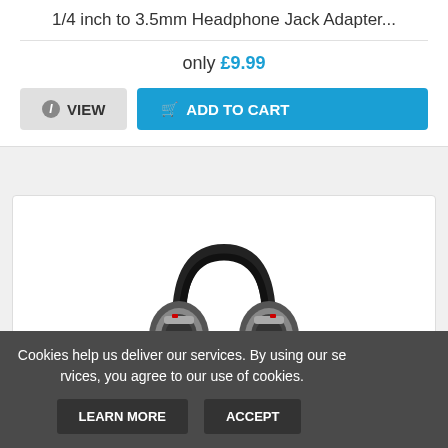1/4 inch to 3.5mm Headphone Jack Adapter...
only £9.99
[Figure (screenshot): VIEW button and ADD TO CART button]
[Figure (photo): Over-ear headphones, black and silver, brand appears to be Hama]
Cookies help us deliver our services. By using our services, you agree to our use of cookies.
LEARN MORE
ACCEPT
[Figure (illustration): Cartoon avatar of a smiling boy with orange/red hair wearing a red shirt]